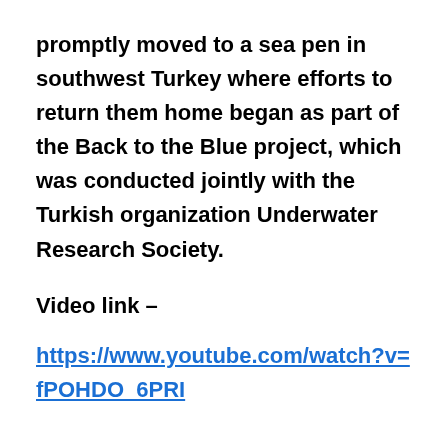promptly moved to a sea pen in southwest Turkey where efforts to return them home began as part of the Back to the Blue project, which was conducted jointly with the Turkish organization Underwater Research Society.
Video link –
https://www.youtube.com/watch?v=fPOHDO_6PRI